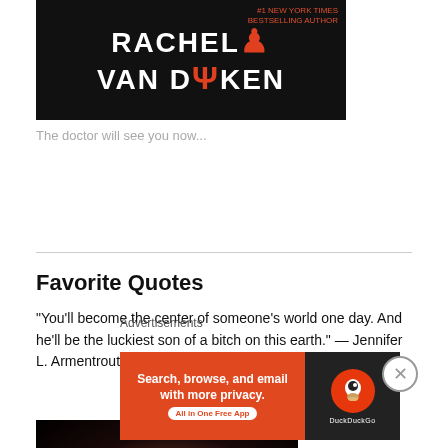[Figure (photo): Book cover for Rachel Van Dyken, showing author name in white text on dark background with red accent, labeled #1 New York Times Bestselling Author]
The doctor will see you now...
Favorite Quotes
“You’ll become the center of someone’s world one day. And he’ll be the luckiest son of a bitch on this earth.” — Jennifer L. Armentrout, Pure
[Figure (photo): Dark portrait photo, mostly black with a blurred face visible at the bottom]
Advertisements
[Figure (screenshot): DuckDuckGo advertisement banner: orange left side reading 'Search, browse, and email with more privacy. All in One Free App', dark right side with DuckDuckGo logo]